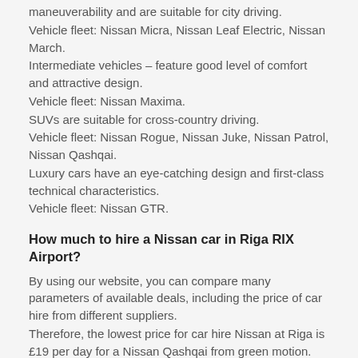maneuverability and are suitable for city driving.
Vehicle fleet: Nissan Micra, Nissan Leaf Electric, Nissan March.
Intermediate vehicles – feature good level of comfort and attractive design.
Vehicle fleet: Nissan Maxima.
SUVs are suitable for cross-country driving.
Vehicle fleet: Nissan Rogue, Nissan Juke, Nissan Patrol, Nissan Qashqai.
Luxury cars have an eye-catching design and first-class technical characteristics.
Vehicle fleet: Nissan GTR.
How much to hire a Nissan car in Riga RIX Airport?
By using our website, you can compare many parameters of available deals, including the price of car hire from different suppliers.
Therefore, the lowest price for car hire Nissan at Riga is £19 per day for a Nissan Qashqai from green motion.
Also, the lowest price per ...